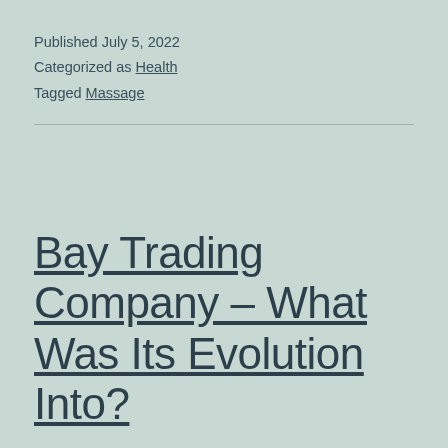Published July 5, 2022
Categorized as Health
Tagged Massage
Bay Trading Company – What Was Its Evolution Into?